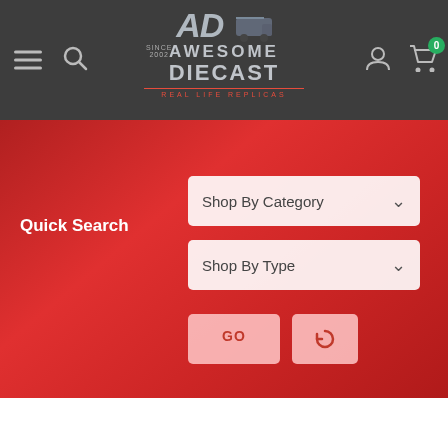[Figure (screenshot): Awesome Diecast website header with logo, hamburger menu, search icon, user icon, and cart icon with badge showing 0]
Quick Search
[Figure (screenshot): Shop By Category dropdown]
[Figure (screenshot): Shop By Type dropdown]
[Figure (screenshot): GO button and reset/refresh button]